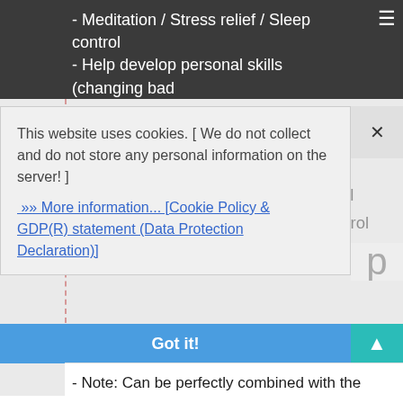- Meditation / Stress relief / Sleep control
- Help develop personal skills (changing bad habits and replacing with beneficial ones)
- Personal development on many fields and areas
- Energy for workouts / Weight controll
- Boosting the memory / Emotion control
- Boosting your -programmed- 'trends' to
This website uses cookies. [ We do not collect and do not store any personal information on the server! ]
»» More information... [Cookie Policy & GDP(R) statement (Data Protection Declaration)]
Got it!
- Note: Can be perfectly combined with the